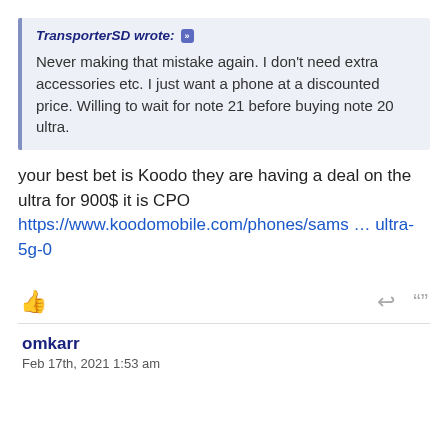TransporterSD wrote: [quote icon] Never making that mistake again. I don't need extra accessories etc. I just want a phone at a discounted price. Willing to wait for note 21 before buying note 20 ultra.
your best bet is Koodo they are having a deal on the ultra for 900$ it is CPO https://www.koodomobile.com/phones/sams … ultra-5g-0
omkarr
Feb 17th, 2021 1:53 am